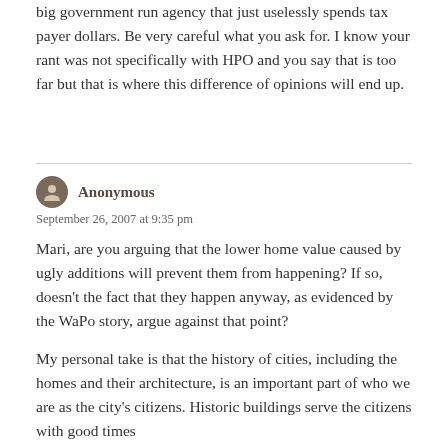big government run agency that just uselessly spends tax payer dollars. Be very careful what you ask for. I know your rant was not specifically with HPO and you say that is too far but that is where this difference of opinions will end up.
Anonymous
September 26, 2007 at 9:35 pm
Mari, are you arguing that the lower home value caused by ugly additions will prevent them from happening? If so, doesn’t the fact that they happen anyway, as evidenced by the WaPo story, argue against that point?
My personal take is that the history of cities, including the homes and their architecture, is an important part of who we are as the city’s citizens. Historic buildings serve the citizens with good times